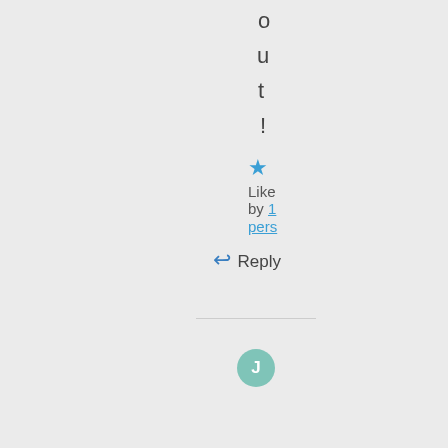o
u
t
!
★ Like by 1 pers
↩ Reply
[Figure (other): Teal circular avatar with letter J]